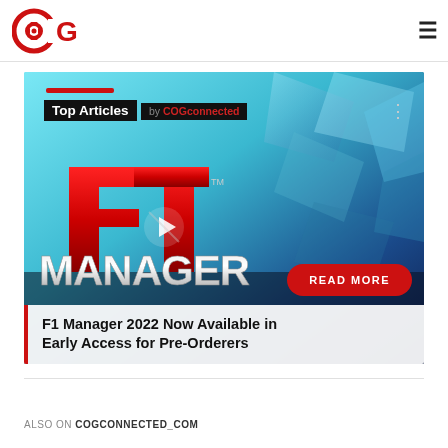[Figure (logo): COGconnected logo — circular gear icon with C and G letters in red, followed by COG text]
[Figure (screenshot): F1 Manager 2022 game promotional image with teal/blue crystalline background, F1 Manager logo in red and silver metallic text, 'Top Articles by COGconnected' overlay badge in top-left, a 'READ MORE' red pill button, and a play button icon in center]
F1 Manager 2022 Now Available in Early Access for Pre-Orderers
ALSO ON COGCONNECTED_COM